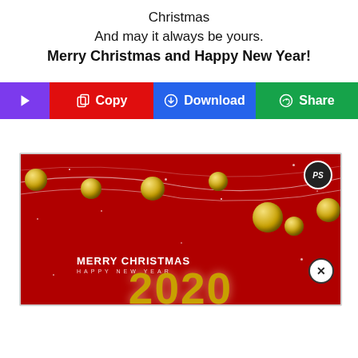Christmas
And may it always be yours.
Merry Christmas and Happy New Year!
[Figure (screenshot): UI buttons row: purple play button, red Copy button, blue Download button, green Share button]
[Figure (illustration): Christmas greeting card with red background, gold ornament balls on strings, MERRY CHRISTMAS HAPPY NEW YEAR text, and large gold 2020 numbers at bottom]